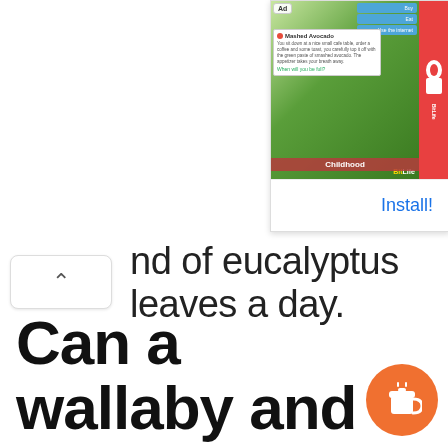[Figure (screenshot): A mobile advertisement banner for BitLife game, showing a game screenshot with Childhood label, mashed avocado popup, BitLife logo on red background, and an Install! call-to-action link.]
nd of eucalyptus leaves a day.
Can a wallaby and